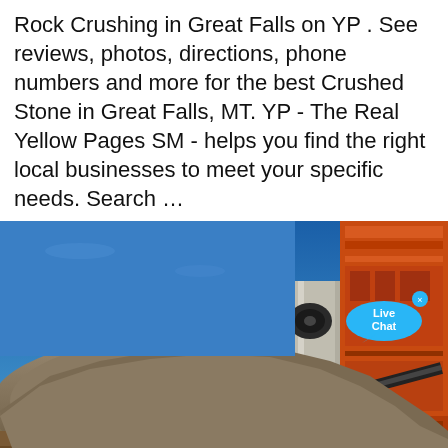Rock Crushing in Great Falls on YP . See reviews, photos, directions, phone numbers and more for the best Crushed Stone in Great Falls, MT. YP - The Real Yellow Pages SM - helps you find the right local businesses to meet your specific needs. Search …
[Figure (photo): Photo of a rock crushing operation showing a large pile of crushed rock/gravel on the left under a blue sky, and orange industrial rock crushing machinery on the right. A concrete pillar/support is visible in the center. A 'Live Chat' bubble overlay appears in the upper right.]
Best 21 Rock Crushing in Great Falls, MT with Reviews
Great Falls, MT 59404 From Business: Welcome to